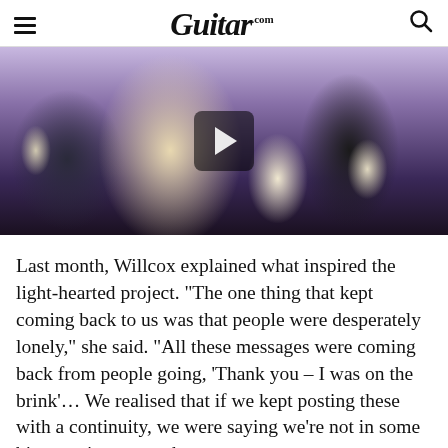Guitar.com
[Figure (photo): Video thumbnail showing a blonde woman singing energetically in a colorful outfit, with a guitarist wearing a mask playing a white guitar in the background. A play button overlay is centered on the image.]
Last month, Willcox explained what inspired the light-hearted project. "The one thing that kept coming back to us was that people were desperately lonely," she said. "All these messages were coming back from people going, 'Thank you – I was on the brink'... We realised that if we kept posting these with a continuity, we were saying we're not in some big mansion somewhere